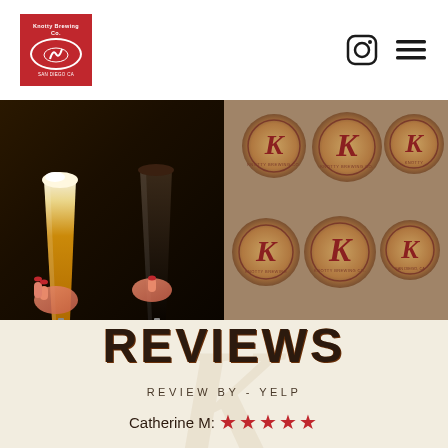Knotty Brewing Co. logo, Instagram icon, menu icon
[Figure (photo): Two hands holding beer glasses — one amber/golden ale and one dark stout — being poured from taps]
[Figure (photo): Six round wooden coasters with Knotty Brewing Co. branded K logo arranged in a 2x3 grid on a grey fabric surface]
REVIEWS
REVIEW BY - YELP
Catherine M: ★★★★★